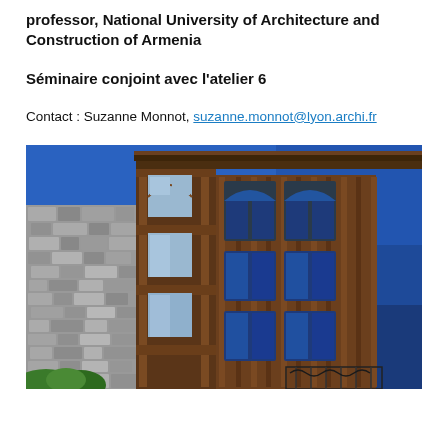professor, National University of Architecture and Construction of Armenia
Séminaire conjoint avec l'atelier 6
Contact : Suzanne Monnot, suzanne.monnot@lyon.archi.fr
[Figure (photo): Photograph of a historic stone building with wooden bay windows and ornate wooden facade elements against a deep blue sky, viewed from below at an angle. The building features arched windows and a wrought iron balcony.]